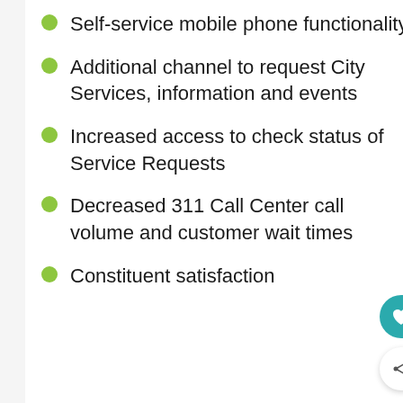Self-service mobile phone functionality
Additional channel to request City Services, information and events
Increased access to check status of Service Requests
Decreased 311 Call Center call volume and customer wait times
Constituent satisfaction